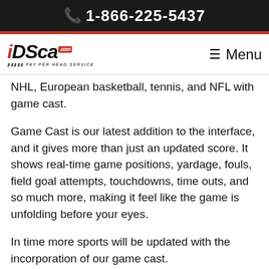☎ 1-866-225-5437
[Figure (logo): iDSca.com Pay Per Head Service logo with hamburger menu icon and 'Menu' label]
NHL, European basketball, tennis, and NFL with game cast.
Game Cast is our latest addition to the interface, and it gives more than just an updated score. It shows real-time game positions, yardage, fouls, field goal attempts, touchdowns, time outs, and so much more, making it feel like the game is unfolding before your eyes.
In time more sports will be updated with the incorporation of our game cast.